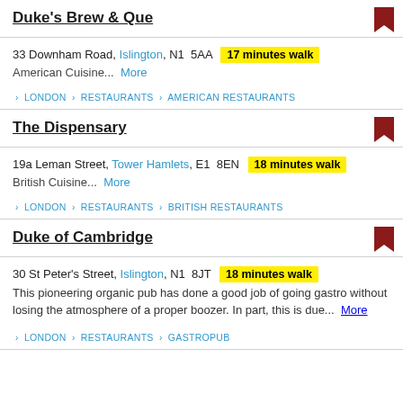Duke's Brew & Que
33 Downham Road, Islington, N1 5AA  17 minutes walk
American Cuisine...  More
› LONDON › RESTAURANTS › AMERICAN RESTAURANTS
The Dispensary
19a Leman Street, Tower Hamlets, E1 8EN  18 minutes walk
British Cuisine...  More
› LONDON › RESTAURANTS › BRITISH RESTAURANTS
Duke of Cambridge
30 St Peter's Street, Islington, N1 8JT  18 minutes walk
This pioneering organic pub has done a good job of going gastro without losing the atmosphere of a proper boozer. In part, this is due...  More
› LONDON › RESTAURANTS › GASTROPUB